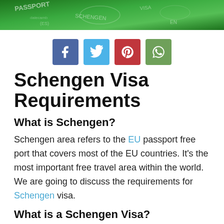[Figure (photo): Green passport/visa header image with stamps and text]
[Figure (infographic): Social sharing buttons: Facebook (blue), Twitter (light blue), Pinterest (red), WhatsApp (green)]
Schengen Visa Requirements
What is Schengen?
Schengen area refers to the EU passport free port that covers most of the EU countries. It's the most important free travel area within the world. We are going to discuss the requirements for Schengen visa.
What is a Schengen Visa?